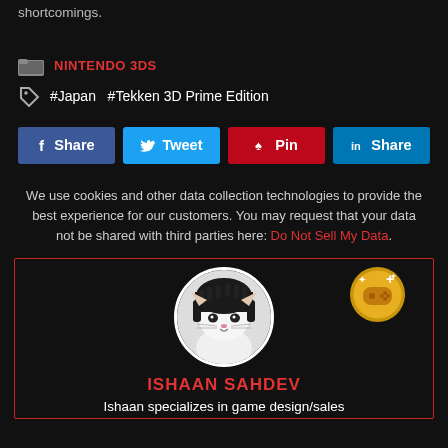shortcomings.
NINTENDO 3DS
#Japan  #Tekken 3D Prime Edition
f Share  y Tweet  p Pin  in Share
We use cookies and other data collection technologies to provide the best experience for our customers. You may request that your data not be shared with third parties here: Do Not Sell My Data.
[Figure (photo): Author avatar showing a cat with dark hair wig, circular photo]
[Figure (logo): Gold badge icon with game controller and plus sign]
ISHAAN SAHDEV
Ishaan specializes in game design/sales